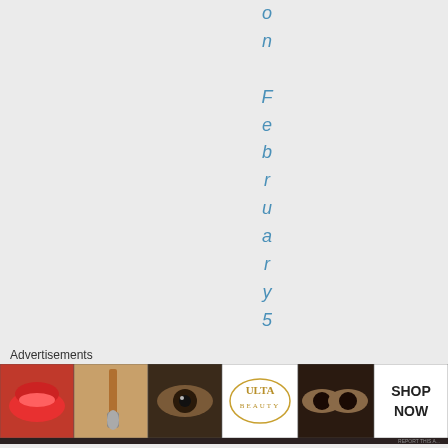on February 5, 201
Advertisements
[Figure (other): Advertisement banner strip with beauty/cosmetics ads including lips, makeup brush, eye, ULTA Beauty logo, eyes close-up, and SHOP NOW call to action]